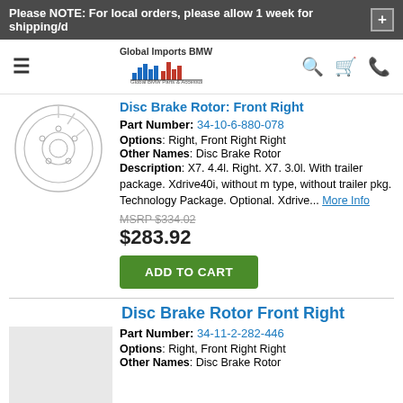Please NOTE: For local orders, please allow 1 week for shipping/d
[Figure (logo): Global Imports BMW logo with colorful bar chart graphic]
Disc Brake Rotor Front Right
Part Number: 34-10-6-880-078
Options: Right, Front Right Right
Other Names: Disc Brake Rotor
Description: X7. 4.4l. Right. X7. 3.0l. With trailer package. Xdrive40i, without m type, without trailer pkg. Technology Package. Optional. Xdrive... More Info
MSRP $334.02
$283.92
ADD TO CART
Disc Brake Rotor Front Right
Part Number: 34-11-2-282-446
Options: Right, Front Right Right
Other Names: Disc Brake Rotor